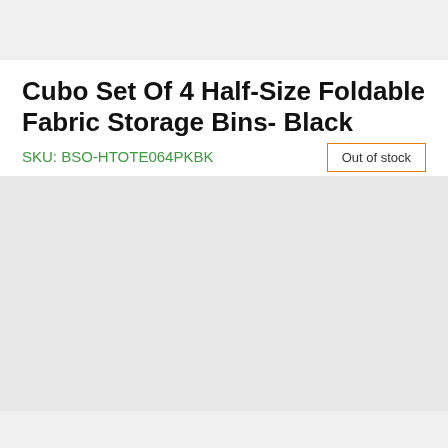Cubo Set Of 4 Half-Size Foldable Fabric Storage Bins- Black
SKU: BSO-HTOTE064PKBK
Out of stock
[Figure (other): Light gray product image placeholder area]